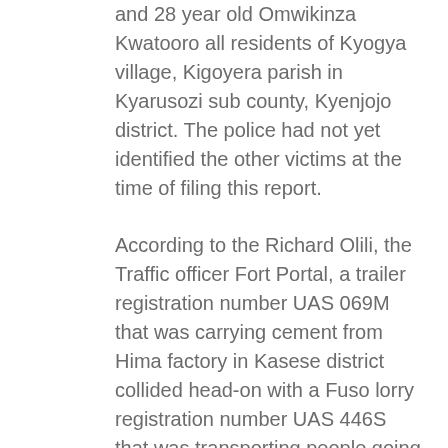and 28 year old Omwikinza Kwatooro all residents of Kyogya village, Kigoyera parish in Kyarusozi sub county, Kyenjojo district. The police had not yet identified the other victims at the time of filing this report.
According to the Richard Olili, the Traffic officer Fort Portal, a trailer registration number UAS 069M that was carrying cement from Hima factory in Kasese district collided head-on with a Fuso lorry registration number UAS 446S that was transporting people going for burial in Kibiito sub county.
The 1:30pm accident occurred at Kyabunda Hill in Buheesi Sub County, Kabarole district.
Olili explains that the driver of the trailer identified as Richard Mukasa, believed to be in his mid-30s, who was over speeding and talking on phone, lost control and hit the Fuso lorry.
Olili says the bodies have been taken to Fort Portal referral hospital, while the injured